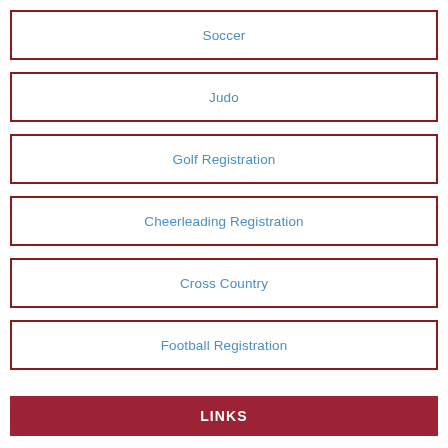Soccer
Judo
Golf Registration
Cheerleading Registration
Cross Country
Football Registration
LINKS
Athletic Eligibility Policy and Process